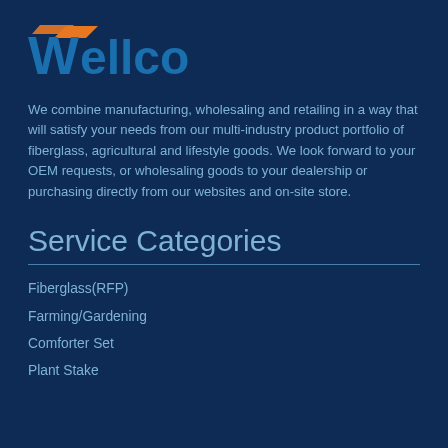[Figure (logo): Wellco logo: blue stylized 'W' with orange swoosh above, bold blue text 'Wellco']
We combine manufacturing, wholesaling and retailing in a way that will satisfy your needs from our multi-industry product portfolio of fiberglass, agricultural and lifestyle goods. We look forward to your OEM requests, or wholesaling goods to your dealership or purchasing directly from our websites and on-site store.
Service Categories
Fiberglass(RFP)
Farming/Gardening
Comforter Set
Plant Stake